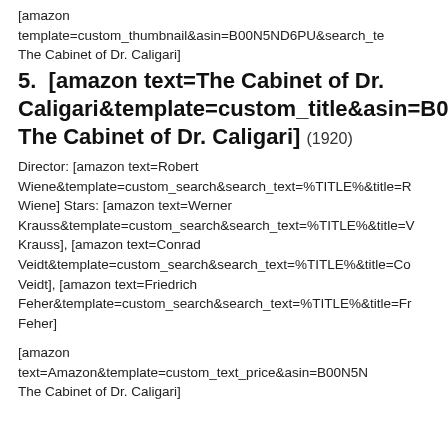[amazon template=custom_thumbnail&asin=B00N5ND6PU&search_te The Cabinet of Dr. Caligari]
5.  [amazon text=The Cabinet of Dr. Caligari&template=custom_title&asin=B00N The Cabinet of Dr. Caligari] (1920)
Director: [amazon text=Robert Wiene&template=custom_search&search_text=%TITLE%&title=R Wiene] Stars: [amazon text=Werner Krauss&template=custom_search&search_text=%TITLE%&title=V Krauss], [amazon text=Conrad Veidt&template=custom_search&search_text=%TITLE%&title=Co Veidt], [amazon text=Friedrich Feher&template=custom_search&search_text=%TITLE%&title=Fr Feher]
[amazon text=Amazon&template=custom_text_price&asin=B00N5N The Cabinet of Dr. Caligari]